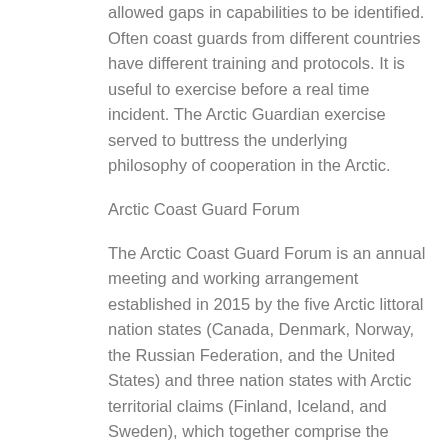allowed gaps in capabilities to be identified. Often coast guards from different countries have different training and protocols. It is useful to exercise before a real time incident. The Arctic Guardian exercise served to buttress the underlying philosophy of cooperation in the Arctic.
Arctic Coast Guard Forum
The Arctic Coast Guard Forum is an annual meeting and working arrangement established in 2015 by the five Arctic littoral nation states (Canada, Denmark, Norway, the Russian Federation, and the United States) and three nation states with Arctic territorial claims (Finland, Iceland, and Sweden), which together comprise the eight member states of the Arctic Council. The objective of this forum is to strengthen multilateral cooperation and coordination of Coast Guard activities between the eight member states within the Arctic maritime